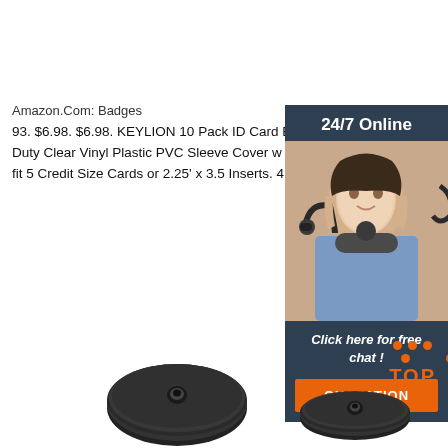Amazon.Com: Badges
93. $6.98. $6.98. KEYLION 10 Pack ID Card Badge Heavy Duty Clear Vinyl Plastic PVC Sleeve Cover w Resealable Zip, fit 5 Credit Size Cards or 2.25' x 3.5 Inserts. 4.7 out of 5 stars.
[Figure (other): Orange 'Get Price' button]
[Figure (photo): Sidebar advertisement with woman wearing headset, '24/7 Online' header, 'Click here for free chat!' text, and orange QUOTATION button on dark blue background]
[Figure (logo): Orange TOP logo with dot triangle above the word TOP]
[Figure (photo): Two black disc/puck shaped products at bottom of page]